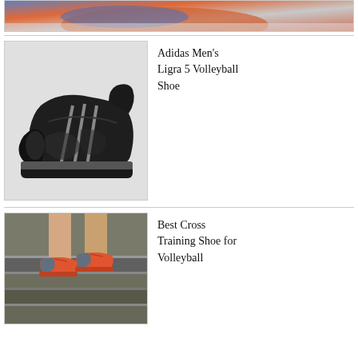[Figure (photo): Partial view of a colorful athletic shoe (blue, orange, grey) cropped at top of page]
[Figure (photo): Adidas Men's Ligra 5 Volleyball Shoe — black volleyball shoe on grey background, side profile view]
Adidas Men's Ligra 5 Volleyball Shoe
[Figure (photo): Person wearing orange and grey cross training shoes standing on stone steps, legs visible from knees down]
Best Cross Training Shoe for Volleyball